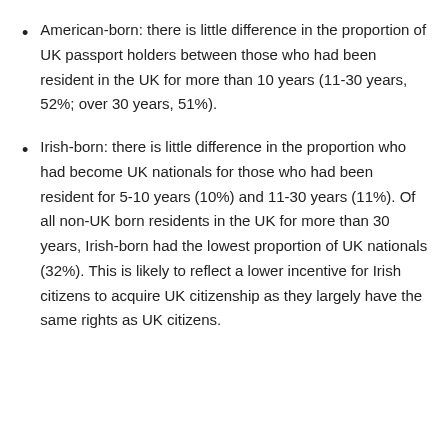American-born: there is little difference in the proportion of UK passport holders between those who had been resident in the UK for more than 10 years (11-30 years, 52%; over 30 years, 51%).
Irish-born: there is little difference in the proportion who had become UK nationals for those who had been resident for 5-10 years (10%) and 11-30 years (11%). Of all non-UK born residents in the UK for more than 30 years, Irish-born had the lowest proportion of UK nationals (32%). This is likely to reflect a lower incentive for Irish citizens to acquire UK citizenship as they largely have the same rights as UK citizens.